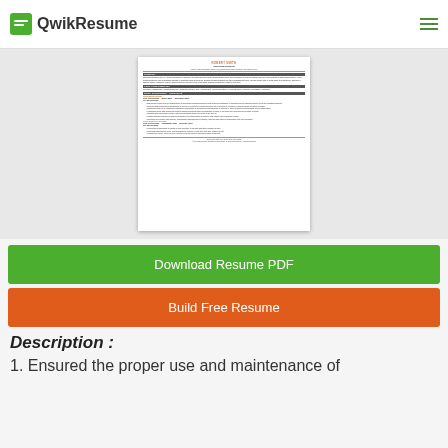QwikResume
[Figure (other): Resume preview showing ROBERT SMITH Stockman/Shipping resume with sections for Summary, Core Competencies, Work Experience at KDC Corporation, and Flight Discovery Member position]
Download Resume PDF
Build Free Resume
Description :
1. Ensured the proper use and maintenance of